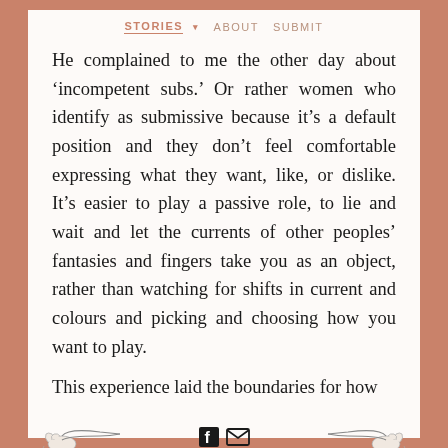STORIES ▾   ABOUT   SUBMIT
He complained to me the other day about 'incompetent subs.' Or rather women who identify as submissive because it's a default position and they don't feel comfortable expressing what they want, like, or dislike. It's easier to play a passive role, to lie and wait and let the currents of other peoples' fantasies and fingers take you as an object, rather than watching for shifts in current and colours and picking and choosing how you want to play.
This experience laid the boundaries for how
[Figure (illustration): Two hand illustrations (pointing/gesturing hands) on the left and right, with Facebook and email icons in the center footer area]